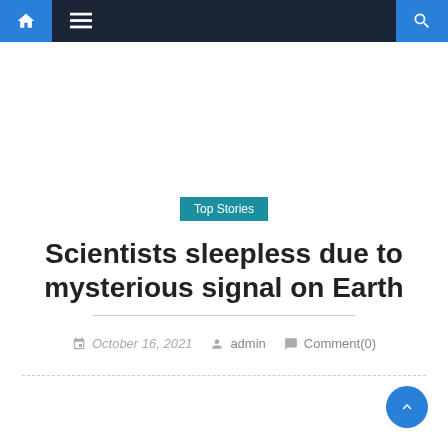Navigation bar with home, menu, and search icons
Top Stories
Scientists sleepless due to mysterious signal on Earth
October 16, 2021  admin  Comment(0)